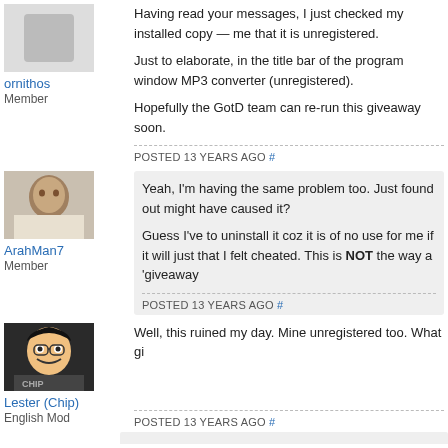Having read your messages, I just checked my installed copy — me that it is unregistered.

Just to elaborate, in the title bar of the program window MP3 converter (unregistered).

Hopefully the GotD team can re-run this giveaway soon.
POSTED 13 YEARS AGO #
ornithos
Member
Yeah, I'm having the same problem too. Just found out might have caused it?

Guess I've to uninstall it coz it is of no use for me if it will just that I felt cheated. This is NOT the way a 'giveaway
POSTED 13 YEARS AGO #
ArahMan7
Member
Well, this ruined my day. Mine unregistered too. What gi
POSTED 13 YEARS AGO #
Lester (Chip)
English Mod